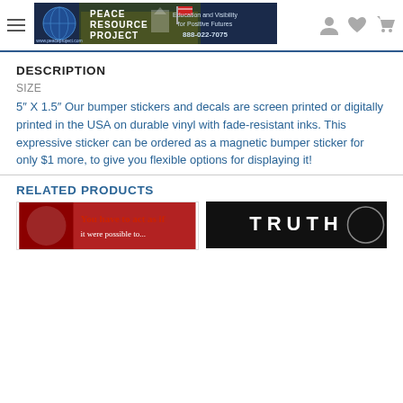Peace Resource Project — Education and Visibility for Positive Futures 888-022-7075
DESCRIPTION
SIZE
5″ X 1.5″ Our bumper stickers and decals are screen printed or digitally printed in the USA on durable vinyl with fade-resistant inks. This expressive sticker can be ordered as a magnetic bumper sticker for only $1 more, to give you flexible options for displaying it!
RELATED PRODUCTS
[Figure (photo): Thumbnail of a product showing text 'You have to act as if']
[Figure (photo): Thumbnail of a product with dark background and white text]